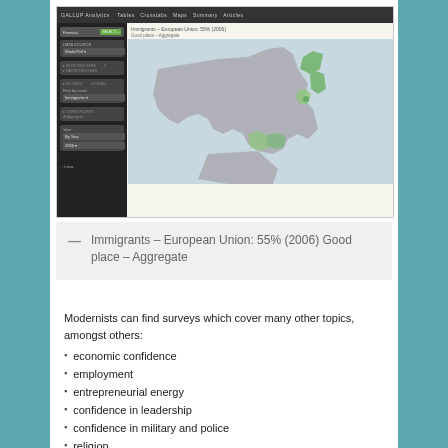[Figure (screenshot): Screenshot of Gallup analytics interface showing a map of Europe with some countries highlighted in green, with a dark sidebar containing filter controls on the left.]
— Immigrants – European Union: 55% (2006) Good place – Aggregate
Modernists can find surveys which cover many other topics, amongst others:
economic confidence
employment
entrepreneurial energy
confidence in leadership
confidence in military and police
religion
food access